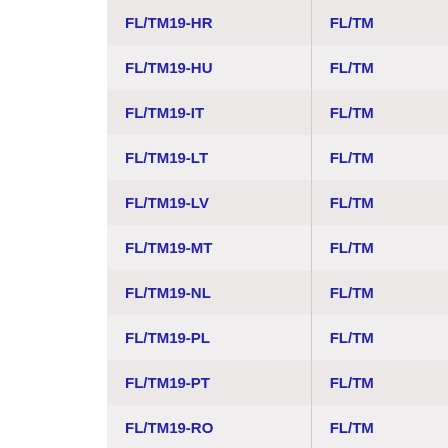| Code Col 1 | Code Col 2 |
| --- | --- |
| FL/TM19-HR | FL/TM… |
| FL/TM19-HU | FL/TM… |
| FL/TM19-IT | FL/TM… |
| FL/TM19-LT | FL/TM… |
| FL/TM19-LV | FL/TM… |
| FL/TM19-MT | FL/TM… |
| FL/TM19-NL | FL/TM… |
| FL/TM19-PL | FL/TM… |
| FL/TM19-PT | FL/TM… |
| FL/TM19-RO | FL/TM… |
| FL/TM19-SK | FL/TM… |
| FL/TM19-SL | FL/TM… |